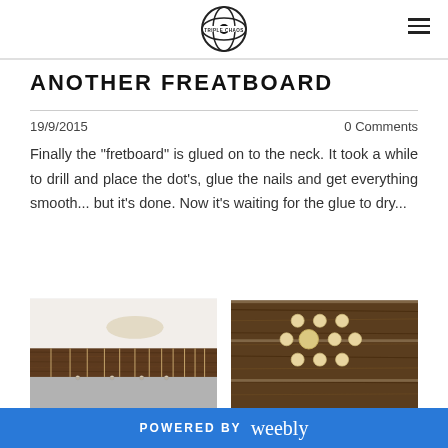Triple Chaos logo and navigation menu
ANOTHER FREATBOARD
19/9/2015   0 Comments
Finally the "fretboard" is glued on to the neck. It took a while to drill and place the dot's, glue the nails and get everything smooth... but it's done. Now it's waiting for the glue to dry...
[Figure (photo): Photo of a guitar fretboard lying flat on a white surface, showing fret lines and small dot inlays along the side.]
[Figure (photo): Close-up photo of a wooden fretboard with circular dot inlays arranged in a cluster pattern, dark wood grain visible.]
POWERED BY weebly